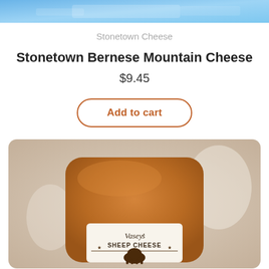[Figure (photo): Top portion of a product photo showing blue packaging of Stonetown Cheese]
Stonetown Cheese
Stonetown Bernese Mountain Cheese
$9.45
Add to cart
[Figure (photo): Photo of a block of cheese wrapped in plastic with a label reading 'Vasey's Sheep Cheese' with a sheep silhouette logo]